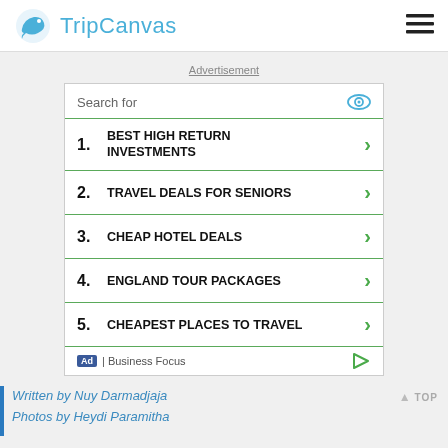TripCanvas
Advertisement
[Figure (other): Search ad widget with 5 items: 1. BEST HIGH RETURN INVESTMENTS, 2. TRAVEL DEALS FOR SENIORS, 3. CHEAP HOTEL DEALS, 4. ENGLAND TOUR PACKAGES, 5. CHEAPEST PLACES TO TRAVEL. Footer shows Ad | Business Focus.]
Written by Nuy Darmadjaja
Photos by Heydi Paramitha
It's 11 am in the morning and my foot are itching to dance